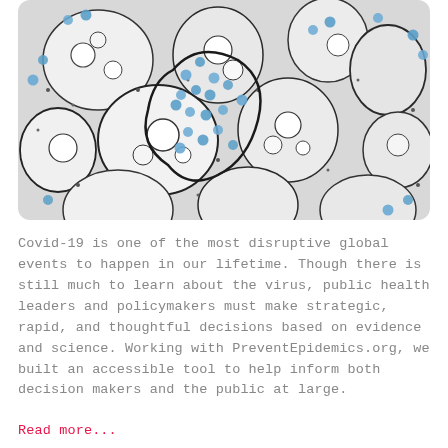[Figure (photo): Electron microscopy image of coronavirus particles (shown in blue) among cell structures, black and white with blue-colored virus particles.]
Covid-19 is one of the most disruptive global events to happen in our lifetime. Though there is still much to learn about the virus, public health leaders and policymakers must make strategic, rapid, and thoughtful decisions based on evidence and science. Working with PreventEpidemics.org, we built an accessible tool to help inform both decision makers and the public at large.
Read more...